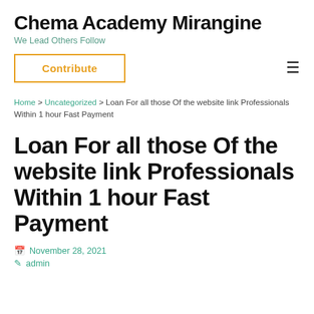Chema Academy Mirangine
We Lead Others Follow
Contribute
Home > Uncategorized > Loan For all those Of the website link Professionals Within 1 hour Fast Payment
Loan For all those Of the website link Professionals Within 1 hour Fast Payment
November 28, 2021
admin